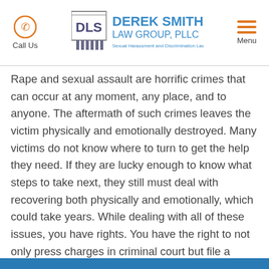Call Us | Derek Smith Law Group, PLLC — Sexual Harassment and Discrimination Lawyers | Menu
Rape and sexual assault are horrific crimes that can occur at any moment, any place, and to anyone. The aftermath of such crimes leaves the victim physically and emotionally destroyed. Many victims do not know where to turn to get the help they need. If they are lucky enough to know what steps to take next, they still must deal with recovering both physically and emotionally, which could take years. While dealing with all of these issues, you have rights. You have the right to not only press charges in criminal court but file a lawsuit against your attacker in civil court. Our team former sex-crimes prosecutors at the Derek Smith Law Group are here to help you navigate these rights so you can focus on healing.